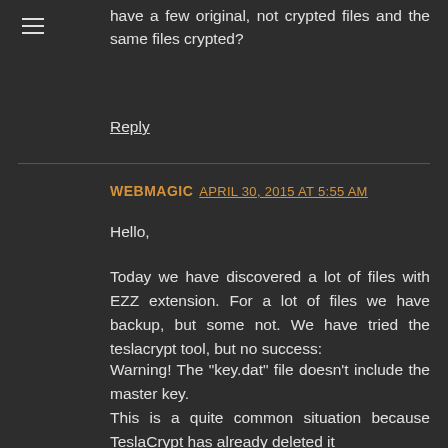have a few original, not crypted files and the same files crypted?
Reply
WEBMAGIC  APRIL 30, 2015 AT 5:55 AM
Hello,
Today we have discovered a lot of files with EZZ extension. For a lot of files we have backup, but some not. We have tried the teslacrypt tool, but no success:
Warning! The "key.dat" file doesn't include the master key.
This is a quite common situation because TeslaCrypt has already deleted it
to proper mantain its stealth.